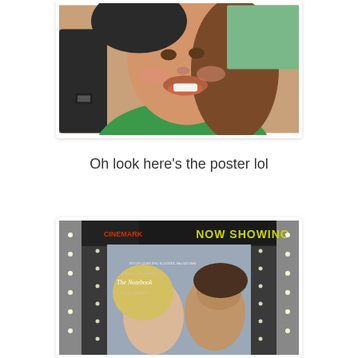[Figure (photo): A smiling woman in a green top taking a selfie or being photographed close up, partial figure of another person visible on left with dark sleeve and watch.]
Oh look here's the poster lol
[Figure (photo): A cinema movie poster display case lit with small lights showing a NOW SHOWING sign in yellow-green text on dark background, with a romantic movie poster featuring a man and woman facing each other closely. Text on poster reads 'THE NOTEBOOK' and appears to say 'RYAN GOSLING'.]